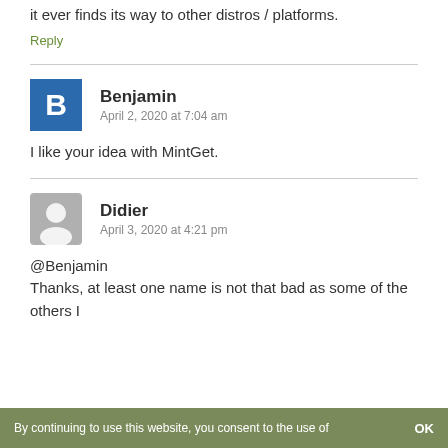it ever finds its way to other distros / platforms.
Reply
Benjamin
April 2, 2020 at 7:04 am
I like your idea with MintGet.
Didier
April 3, 2020 at 4:21 pm
@Benjamin
Thanks, at least one name is not that bad as some of the others I
By continuing to use this website, you consent to the use of   OK